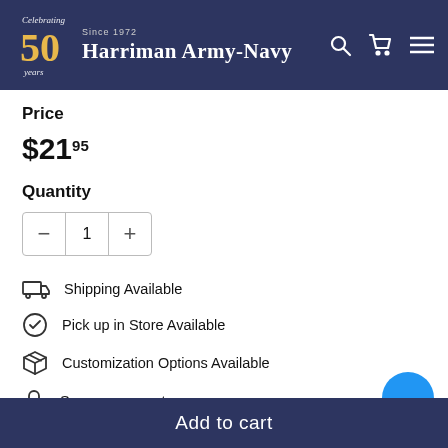Harriman Army-Navy
Price
$21.95
Quantity
1
Shipping Available
Pick up in Store Available
Customization Options Available
Secure payments
Add to cart